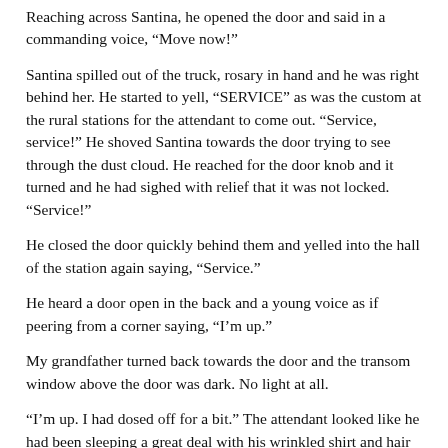Reaching across Santina, he opened the door and said in a commanding voice, “Move now!”
Santina spilled out of the truck, rosary in hand and he was right behind her. He started to yell, “SERVICE” as was the custom at the rural stations for the attendant to come out. “Service, service!” He shoved Santina towards the door trying to see through the dust cloud. He reached for the door knob and it turned and he had sighed with relief that it was not locked. “Service!”
He closed the door quickly behind them and yelled into the hall of the station again saying, “Service.”
He heard a door open in the back and a young voice as if peering from a corner saying, “I’m up.”
My grandfather turned back towards the door and the transom window above the door was dark. No light at all.
“I’m up. I had dosed off for a bit.” The attendant looked like he had been sleeping a great deal with his wrinkled shirt and hair askew. My grandfather and grandmother must have had a crazed and fearful look in their faces. The attendant looked at them and relaxing his face, said, “come in, you look a fright.”